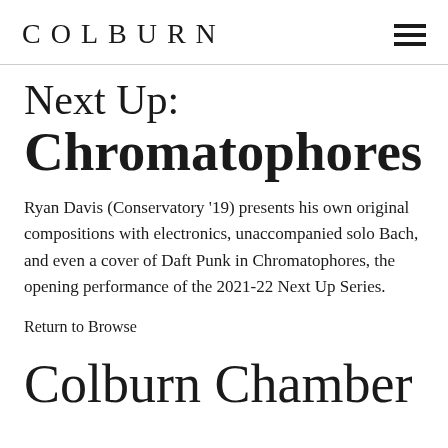COLBURN
Next Up: Chromatophores
Ryan Davis (Conservatory '19) presents his own original compositions with electronics, unaccompanied solo Bach, and even a cover of Daft Punk in Chromatophores, the opening performance of the 2021-22 Next Up Series.
Return to Browse
Colburn Chamber